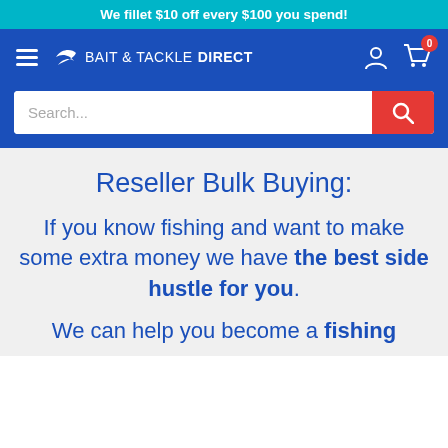We fillet $10 off every $100 you spend!
[Figure (screenshot): Navigation bar with hamburger menu, Bait & Tackle Direct logo, user account icon, and cart icon with 0 badge]
[Figure (screenshot): Search input field with red search button]
Reseller Bulk Buying:
If you know fishing and want to make some extra money we have the best side hustle for you.
We can help you become a fishing